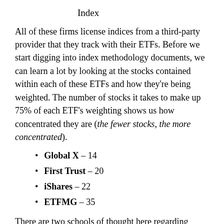Index
All of these firms license indices from a third-party provider that they track with their ETFs. Before we start digging into index methodology documents, we can learn a lot by looking at the stocks contained within each of these ETFs and how they’re being weighted. The number of stocks it takes to make up 75% of each ETF’s weighting shows us how concentrated they are (the fewer stocks, the more concentrated).
Global X – 14
First Trust – 20
iShares – 22
ETFMG – 35
There are two schools of thought here regarding ETFs that have a smaller number of constituents, and consequently, have heavier weightings in fewer stocks.